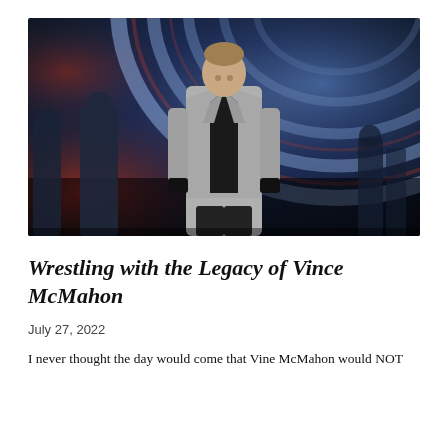[Figure (photo): A man in a grey suit with a black shirt walking through a dramatic tunnel entrance with red and blue arc lighting, crowd visible behind him.]
Wrestling with the Legacy of Vince McMahon
July 27, 2022
I never thought the day would come that Vine McMahon would NOT